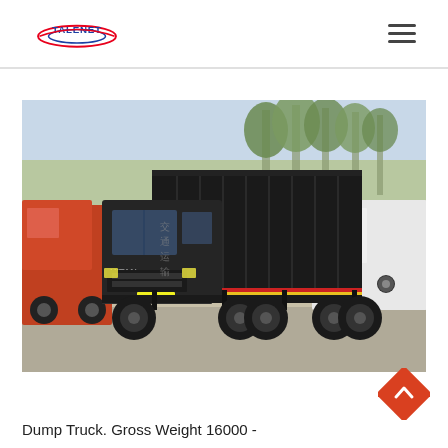TALENET
[Figure (photo): A dark gray heavy-duty dump truck (8x4 or 6x4 configuration) with a large rectangular tipping body, parked in a truck yard with trees in the background. Other trucks are visible in the background.]
Dump Truck. Gross Weight 16000 -